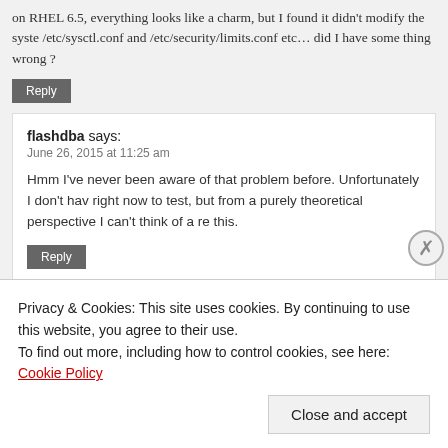on RHEL 6.5, everything looks like a charm, but I found it didn't modify the system /etc/sysctl.conf and /etc/security/limits.conf etc… did I have some thing wrong ?
Reply
flashdba says:
June 26, 2015 at 11:25 am
Hmm I've never been aware of that problem before. Unfortunately I don't have right now to test, but from a purely theoretical perspective I can't think of a re this.
Reply
Jason says:
June 27, 2015 at 3:10 pm
Privacy & Cookies: This site uses cookies. By continuing to use this website, you agree to their use. To find out more, including how to control cookies, see here: Cookie Policy
Close and accept